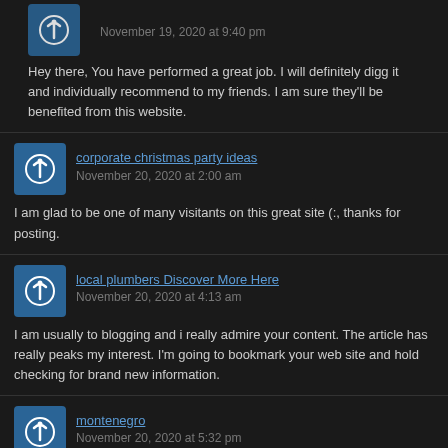November 19, 2020 at 9:40 pm
Hey there, You have performed a great job. I will definitely digg it and individually recommend to my friends. I am sure they'll be benefited from this website.
corporate christmas party ideas
November 20, 2020 at 2:00 am
I am glad to be one of many visitants on this great site (:, thanks for posting.
local plumbers Discover More Here
November 20, 2020 at 4:13 am
I am usually to blogging and i really admire your content. The article has really peaks my interest. I'm going to bookmark your web site and hold checking for brand new information.
montenegro
November 20, 2020 at 5:32 pm
Exactly what I was looking for, thankyou for posting.